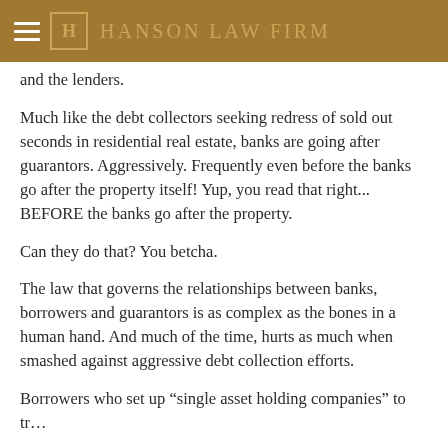HANSON LAW FIRM
and the lenders.
Much like the debt collectors seeking redress of sold out seconds in residential real estate, banks are going after guarantors. Aggressively. Frequently even before the banks go after the property itself! Yup, you read that right... BEFORE the banks go after the property.
Can they do that? You betcha.
The law that governs the relationships between banks, borrowers and guarantors is as complex as the bones in a human hand. And much of the time, hurts as much when smashed against aggressive debt collection efforts.
Borrowers who set up “single asset holding companies” to tr…